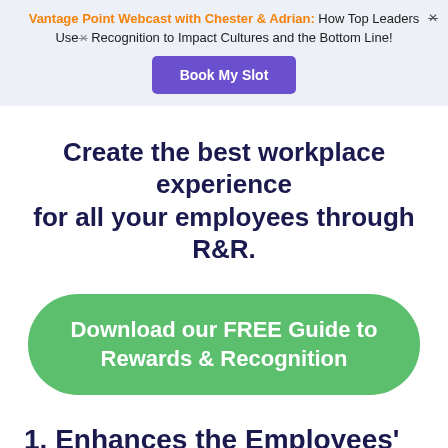Vantage Point Webcast with Chester & Adrian: How Top Leaders Use Recognition to Impact Cultures and the Bottom Line!
Book My Slot
Create the best workplace experience for all your employees through R&R.
Download our FREE Guide to Rewards & Recognition
1. Enhances the Employees'